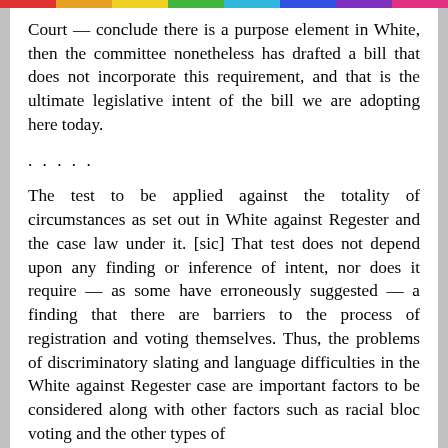Court — conclude there is a purpose element in White, then the committee nonetheless has drafted a bill that does not incorporate this requirement, and that is the ultimate legislative intent of the bill we are adopting here today.
.....
The test to be applied against the totality of circumstances as set out in White against Regester and the case law under it. [sic] That test does not depend upon any finding or inference of intent, nor does it require — as some have erroneously suggested — a finding that there are barriers to the process of registration and voting themselves. Thus, the problems of discriminatory slating and language difficulties in the White against Regester case are important factors to be considered along with other factors such as racial bloc voting and the other types of